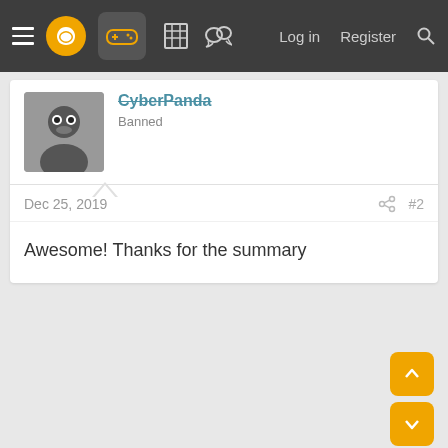Navigation bar with hamburger menu, logo, game controller icon, building icon, chat icon, Log in, Register, Search
CyberPanda
Banned
Dec 25, 2019   #2
Awesome! Thanks for the summary